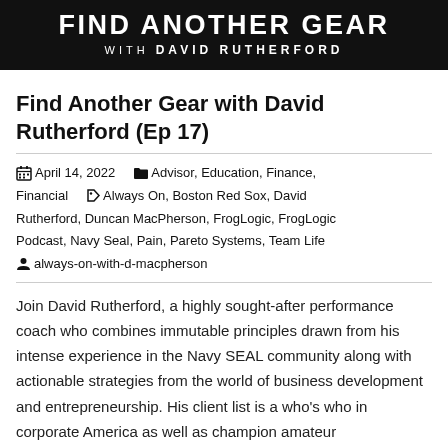[Figure (logo): Black banner with white text: FIND ANOTHER GEAR WITH DAVID RUTHERFORD]
Find Another Gear with David Rutherford (Ep 17)
April 14, 2022   Advisor, Education, Finance, Financial   Always On, Boston Red Sox, David Rutherford, Duncan MacPherson, FrogLogic, FrogLogic Podcast, Navy Seal, Pain, Pareto Systems, Team Life   always-on-with-d-macpherson
Join David Rutherford, a highly sought-after performance coach who combines immutable principles drawn from his intense experience in the Navy SEAL community along with actionable strategies from the world of business development and entrepreneurship. His client list is a who's who in corporate America as well as champion amateur